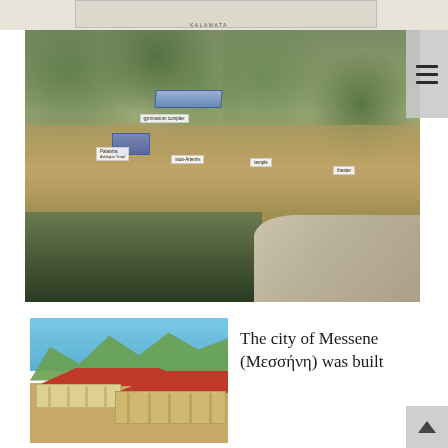[Figure (photo): Top partial view of a map or diagram with 'KALAMATA' label at the bottom, beige/grey tones]
[Figure (photo): Aerial photograph of the ancient site of Messene, Greece. Shows landscape with olive trees, excavated ruins including a stadium-like structure, gymnasium complex, palaistra, propylon, stoa, temple, and theater. Labels annotated in white boxes over the photograph pointing to various structures.]
[Figure (photo): 3D reconstruction illustration of the ancient city of Messene showing buildings with red tile roofs, colonnaded structures, set against mountainous landscape with greenery.]
The city of Messene (Μεσσήνη) was built